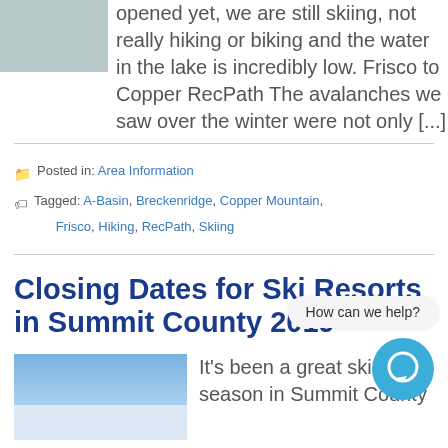[Figure (photo): Outdoor mountain/snow scene thumbnail image at top left]
opened yet, we are still skiing, not really hiking or biking and the water in the lake is incredibly low. Frisco to Copper RecPath The avalanches we saw over the winter were not only [...]
Posted in: Area Information
Tagged: A-Basin, Breckenridge, Copper Mountain, Frisco, Hiking, RecPath, Skiing
Closing Dates for Ski Resorts in Summit County 2019
[Figure (photo): Blue sky and snowy slope photo thumbnail]
It's been a great ski season in Summit County